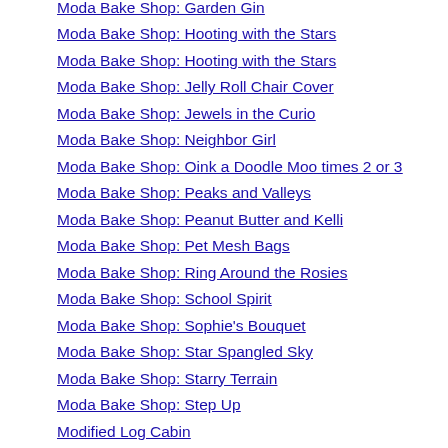Moda Bake Shop: Garden Gin
Moda Bake Shop: Hooting with the Stars
Moda Bake Shop: Hooting with the Stars
Moda Bake Shop: Jelly Roll Chair Cover
Moda Bake Shop: Jewels in the Curio
Moda Bake Shop: Neighbor Girl
Moda Bake Shop: Oink a Doodle Moo times 2 or 3
Moda Bake Shop: Peaks and Valleys
Moda Bake Shop: Peanut Butter and Kelli
Moda Bake Shop: Pet Mesh Bags
Moda Bake Shop: Ring Around the Rosies
Moda Bake Shop: School Spirit
Moda Bake Shop: Sophie's Bouquet
Moda Bake Shop: Star Spangled Sky
Moda Bake Shop: Starry Terrain
Moda Bake Shop: Step Up
Modified Log Cabin
Novelty Print Robot Quilt
Oui Yogurt Jar Pincushion